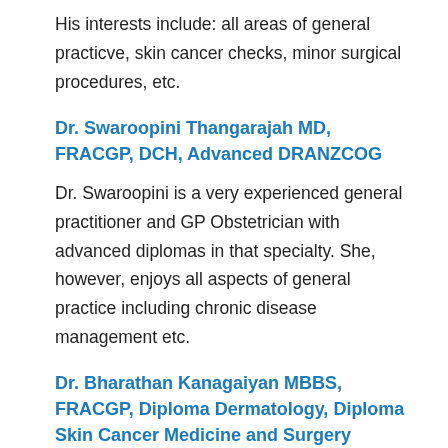His interests include: all areas of general practicve, skin cancer checks, minor surgical procedures, etc.
Dr. Swaroopini Thangarajah MD, FRACGP, DCH, Advanced DRANZCOG
Dr. Swaroopini is a very experienced general practitioner and GP Obstetrician with advanced diplomas in that specialty. She, however, enjoys all aspects of general practice including chronic disease management etc.
Dr. Bharathan Kanagaiyan MBBS, FRACGP, Diploma Dermatology, Diploma Skin Cancer Medicine and Surgery